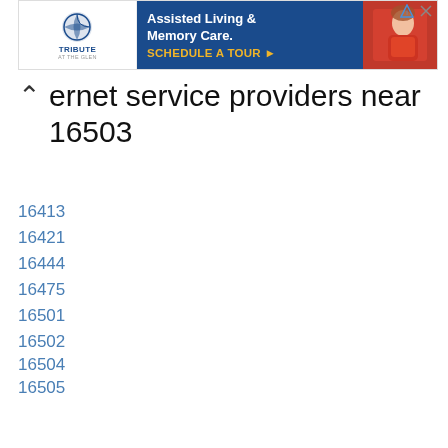[Figure (other): Advertisement banner for Tribute at the Glen - Assisted Living & Memory Care with Schedule a Tour CTA]
Internet service providers near 16503
16413
16421
16444
16475
16501
16502
16504
16505
16506
16507
16508
16509
16510
16511